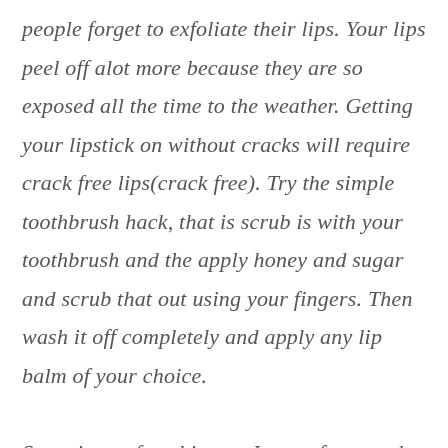people forget to exfoliate their lips. Your lips peel off alot more because they are so exposed all the time to the weather. Getting your lipstick on without cracks will require crack free lips(crack free). Try the simple toothbrush hack, that is scrub is with your toothbrush and the apply honey and sugar and scrub that out using your fingers. Then wash it off completely and apply any lip balm of your choice. Sometimes after this step I use a face mask mostly for moisture, because it is no good applying makeup to a dry